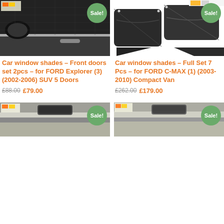[Figure (photo): Car window shade installed on front door of a car, dark mesh shade visible, side mirror in background. Sale! badge top right.]
Car window shades – Front doors set 2pcs – for FORD Explorer (3) (2002-2006) SUV 5 Doors
£88.00 £79.00
[Figure (photo): Set of car window shades laid out showing multiple pieces including triangular corner pieces for a full set. Sale! badge top right.]
Car window shades – Full Set 7 Pcs – for FORD C-MAX (1) (2003-2010) Compact Van
£262.00 £179.00
[Figure (photo): Car window shade installed, view from inside car showing rearview mirror area. Sale! badge.]
[Figure (photo): Car window shade installed, view from inside car. Sale! badge.]